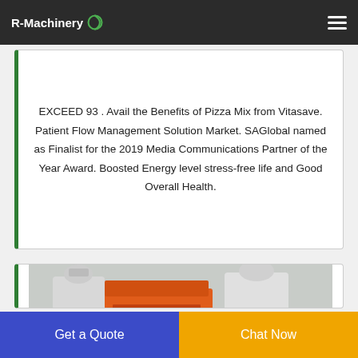R-Machinery
EXCEED 93 . Avail the Benefits of Pizza Mix from Vitasave. Patient Flow Management Solution Market. SAGlobal named as Finalist for the 2019 Media Communications Partner of the Year Award. Boosted Energy level stress-free life and Good Overall Health.
[Figure (photo): Industrial machinery with orange and white components, conveyor belts, and motors in a factory setting.]
Get a Quote
Chat Now